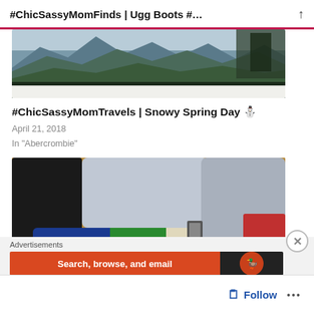#ChicSassyMomFinds | Ugg Boots #…
[Figure (photo): Snow-capped mountain range with pine trees, winter landscape]
#ChicSassyMomTravels | Snowy Spring Day ⛄
April 21, 2018
In "Abercrombie"
[Figure (photo): Flat lay of clothing items including black boots, blue jacket, green top, cream knit sweater, plaid shirt, and gray knit pieces on a wood floor]
Advertisements
[Figure (screenshot): Advertisement banner: Search, browse, and email with DuckDuckGo branding]
Follow